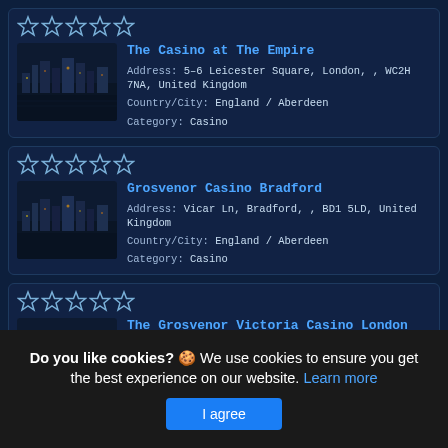[Figure (screenshot): Listing card for 'The Casino at The Empire' with 5 empty star rating, thumbnail photo of city skyline at night, address, country/city, and category details]
[Figure (screenshot): Listing card for 'Grosvenor Casino Bradford' with 5 empty star rating, thumbnail photo of city skyline at night, address, country/city, and category details]
[Figure (screenshot): Listing card for 'The Grosvenor Victoria Casino London' with 5 empty star rating, thumbnail photo of city skyline at night, address, country/city, and category details]
Do you like cookies? 🍪 We use cookies to ensure you get the best experience on our website. Learn more